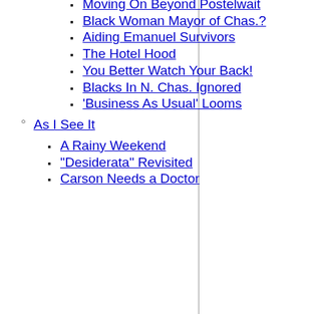Don't Know
Moving On Beyond Postelwait
Black Woman Mayor of Chas.?
Aiding Emanuel Survivors
The Hotel Hood
You Better Watch Your Back!
Blacks In N. Chas. Ignored
'Business As Usual' Looms
As I See It
A Rainy Weekend
"Desiderata" Revisited
Carson Needs a Doctor